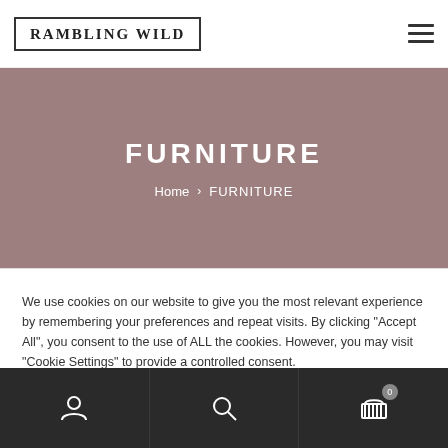RAMBLING WILD
FURNITURE
Home > FURNITURE
We use cookies on our website to give you the most relevant experience by remembering your preferences and repeat visits. By clicking “Accept All”, you consent to the use of ALL the cookies. However, you may visit “Cookie Settings” to provide a controlled consent.